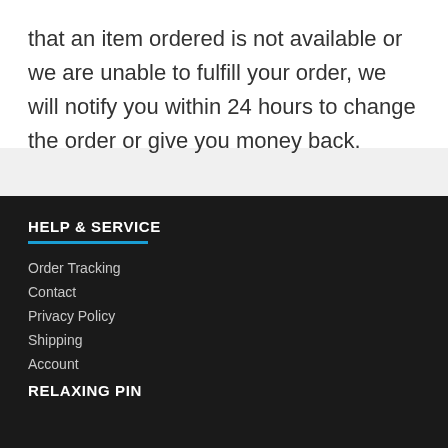that an item ordered is not available or we are unable to fulfill your order, we will notify you within 24 hours to change the order or give you money back.
HELP & SERVICE
Order Tracking
Contact
Privacy Policy
Shipping
Account
RELAXING PIN